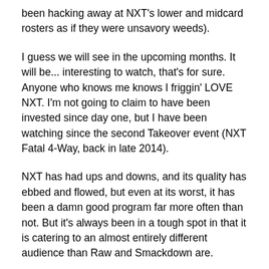been hacking away at NXT's lower and midcard rosters as if they were unsavory weeds).
I guess we will see in the upcoming months. It will be... interesting to watch, that's for sure. Anyone who knows me knows I friggin' LOVE NXT. I'm not going to claim to have been invested since day one, but I have been watching since the second Takeover event (NXT Fatal 4-Way, back in late 2014).
NXT has had ups and downs, and its quality has ebbed and flowed, but even at its worst, it has been a damn good program far more often than not. But it's always been in a tough spot in that it is catering to an almost entirely different audience than Raw and Smackdown are.
Oh well! No reason to speculate just yet. It will be what it's going to be. Let's talk NXT Takeover 36.